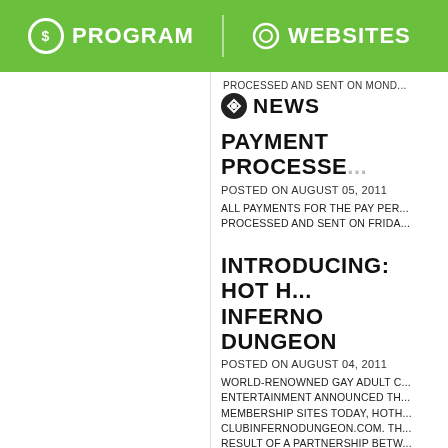PROGRAM   WEBSITES
PROCESSED AND SENT ON MOND...
NEWS
PAYMENT PROCESSE...
POSTED ON AUGUST 05, 2011
ALL PAYMENTS FOR THE PAY PER... PROCESSED AND SENT ON FRIDA...
INTRODUCING: HOT H... INFERNO DUNGEON
POSTED ON AUGUST 04, 2011
WORLD-RENOWNED GAY ADULT C... ENTERTAINMENT ANNOUNCED TH... MEMBERSHIP SITES TODAY, HOTH... CLUBINFERNODUNGEON.COM. TH... RESULT OF A PARTNERSHIP BETW... AND NEXT DOOR ENTERTAINMENT... YEAR'S PHOENIX FORUM. THE PAR...